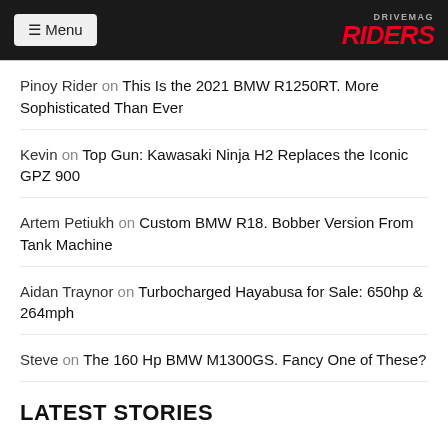≡ Menu | DRIVEMAG RIDERS
Pinoy Rider on This Is the 2021 BMW R1250RT. More Sophisticated Than Ever
Kevin on Top Gun: Kawasaki Ninja H2 Replaces the Iconic GPZ 900
Artem Petiukh on Custom BMW R18. Bobber Version From Tank Machine
Aidan Traynor on Turbocharged Hayabusa for Sale: 650hp & 264mph
Steve on The 160 Hp BMW M1300GS. Fancy One of These?
LATEST STORIES